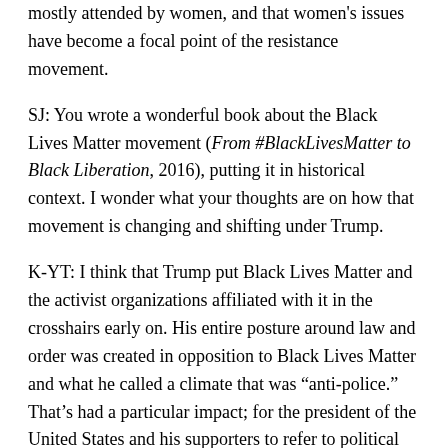mostly attended by women, and that women's issues have become a focal point of the resistance movement.
SJ: You wrote a wonderful book about the Black Lives Matter movement (From #BlackLivesMatter to Black Liberation, 2016), putting it in historical context. I wonder what your thoughts are on how that movement is changing and shifting under Trump.
K-YT: I think that Trump put Black Lives Matter and the activist organizations affiliated with it in the crosshairs early on. His entire posture around law and order was created in opposition to Black Lives Matter and what he called a climate that was “anti-police.” That’s had a particular impact; for the president of the United States and his supporters to refer to political activists as terrorists, which they’ve done around Black Lives Matter,